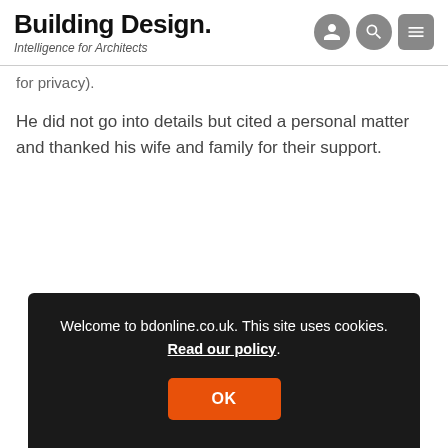Building Design. Intelligence for Architects
for privacy).
He did not go into details but cited a personal matter and thanked his wife and family for their support.
Welcome to bdonline.co.uk. This site uses cookies. Read our policy.